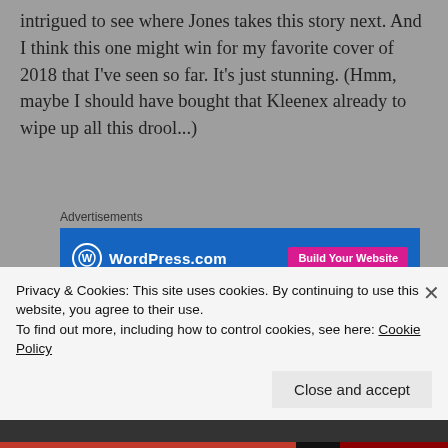intrigued to see where Jones takes this story next. And I think this one might win for my favorite cover of 2018 that I've seen so far. It's just stunning. (Hmm, maybe I should have bought that Kleenex already to wipe up all this drool...)
[Figure (other): WordPress.com advertisement banner with blue background, WordPress logo on the left and pink 'Build Your Website' button on the right]
Immortal Reign by Morgan Rhodes
Release Date: Feb 6, 2018
[Figure (photo): Book cover for Immortal Reign (Falling Kingdoms series) showing a yellow/golden background]
Privacy & Cookies: This site uses cookies. By continuing to use this website, you agree to their use.
To find out more, including how to control cookies, see here: Cookie Policy